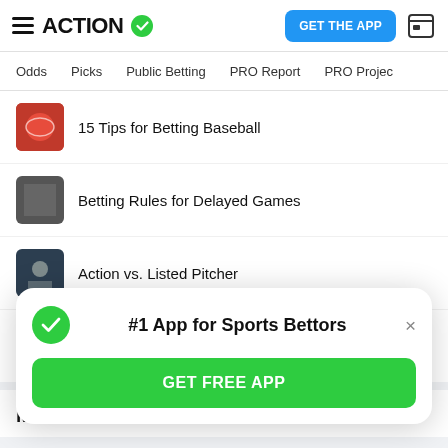ACTION
GET THE APP
Odds  Picks  Public Betting  PRO Report  PRO Projec
15 Tips for Betting Baseball
Betting Rules for Delayed Games
Action vs. Listed Pitcher
Weather Tips
MLB Futures
#1 App for Sports Bettors
GET FREE APP